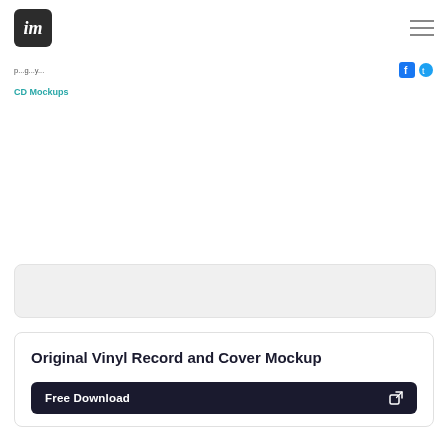im [logo] / hamburger menu
CD Mockups
[Figure (other): Ad placeholder box (gray rounded rectangle)]
Original Vinyl Record and Cover Mockup
Free Download